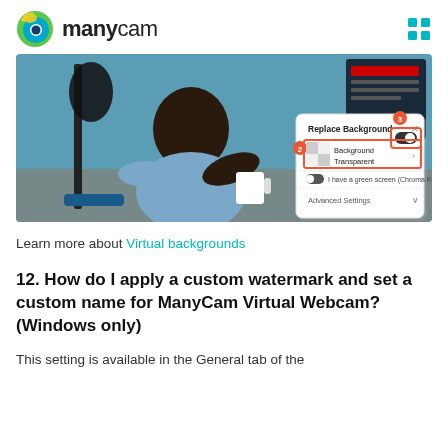[Figure (logo): ManyCam logo with colorful circle icon and 'manycam' text, plus a grid icon in top right]
[Figure (screenshot): Screenshot of ManyCam Replace Background dialog showing numbered steps: step 2 selects 'Background Transparent', step 3 toggles a switch. Dialog shows green screen toggle and Advanced Settings. Background is a photo of a man at a podcast microphone.]
Learn more about Virtual backgrounds
12. How do I apply a custom watermark and set a custom name for ManyCam Virtual Webcam? (Windows only)
This setting is available in the General tab of the